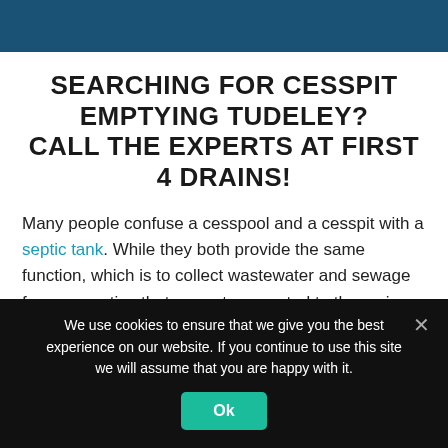SEARCHING FOR CESSPIT EMPTYING TUDELEY? CALL THE EXPERTS AT FIRST 4 DRAINS!
Many people confuse a cesspool and a cesspit with a septic tank. While they both provide the same function, which is to collect wastewater and sewage from properties that are not connected to the mains sewer.
We use cookies to ensure that we give you the best experience on our website. If you continue to use this site we will assume that you are happy with it.